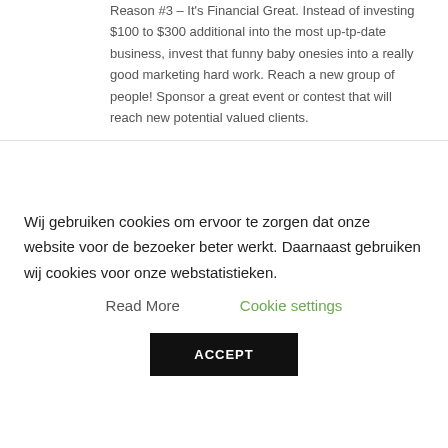Reason #3 – It's Financial Great. Instead of investing $100 to $300 additional into the most up-tp-date business, invest that funny baby onesies into a really good marketing hard work. Reach a new group of people! Sponsor a great event or contest that will reach new potential valued clients.
Look the best and submit a great photo of yourself your profile opportunity. A good
Wij gebruiken cookies om ervoor te zorgen dat onze website voor de bezoeker beter werkt. Daarnaast gebruiken wij cookies voor onze webstatistieken.
Read More
Cookie settings
ACCEPT